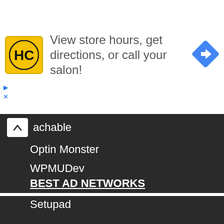[Figure (infographic): Advertisement banner: HC logo (yellow background, black H and C letters), text 'View store hours, get directions, or call your salon!', blue diamond direction arrow icon on right.]
achable
Optin Monster
WPMUDev
BEST AD NETWORKS
Setupad
Ezoic
Media.net
iZooto
Infolinks